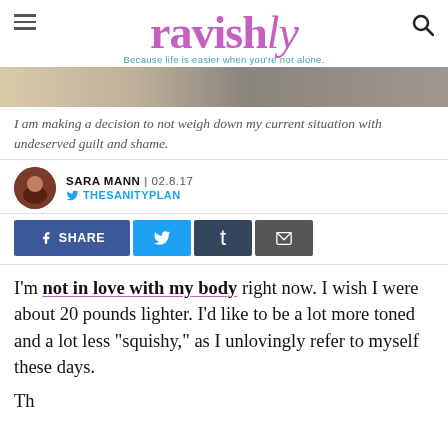ravishly — Because life is easier when you're not alone.
[Figure (photo): Cropped hero image showing a person wearing a grey textured sweater against a stone/brick background]
I am making a decision to not weigh down my current situation with undeserved guilt and shame.
SARA MANN | 02.8.17
THESANITYPLAN
[Figure (screenshot): Social share buttons: Facebook SHARE, Twitter, Tumblr, Email]
I'm not in love with my body right now. I wish I were about 20 pounds lighter. I'd like to be a lot more toned and a lot less “squishy,” as I unlovingly refer to myself these days.
The sentence fragment that appears at the bottom of the visible page.